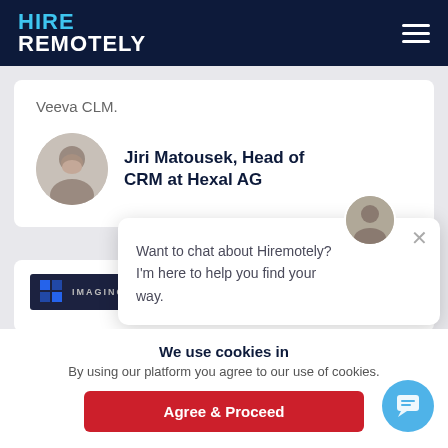[Figure (screenshot): HireRemotely website screenshot showing navigation bar, testimonial card with Jiri Matousek Head of CRM at Hexal AG, a chat bubble overlay, a cookie consent banner, and a partial second card.]
Veeva CLM.
Jiri Matousek, Head of CRM at Hexal AG
Want to chat about Hiremotely? I'm here to help you find your way.
We use cookies in
By using our platform you agree to our use of cookies.
Agree & Proceed
within few weeks.